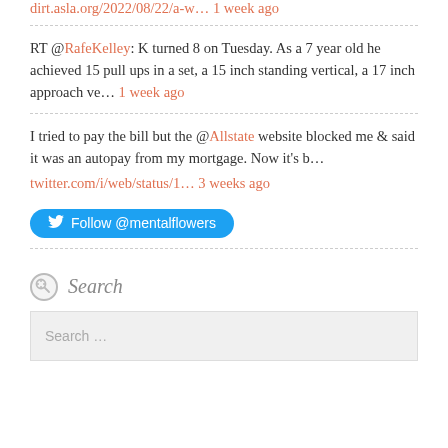dirt.asla.org/2022/08/22/a-w… 1 week ago
RT @RafeKelley: K turned 8 on Tuesday. As a 7 year old he achieved 15 pull ups in a set, a 15 inch standing vertical, a 17 inch approach ve… 1 week ago
I tried to pay the bill but the @Allstate website blocked me & said it was an autopay from my mortgage. Now it's b… twitter.com/i/web/status/1… 3 weeks ago
[Figure (other): Follow @mentalflowers button (Twitter blue rounded button)]
Search
Search …